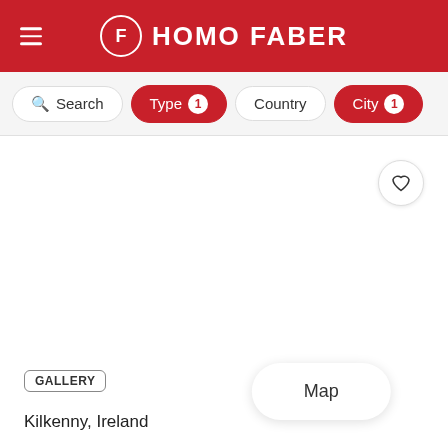HOMO FABER
Search
Type 1
Country
City 1
[Figure (screenshot): White content area with a heart/favorite icon button in the top right corner]
Map
GALLERY
Kilkenny, Ireland